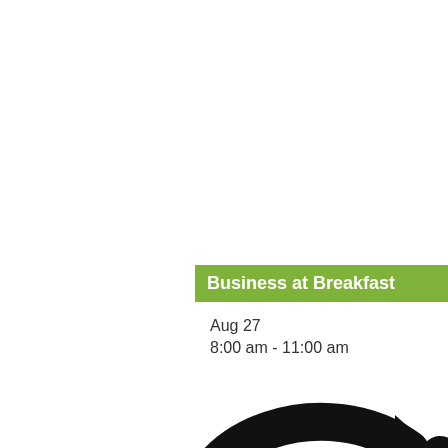Business at Breakfast
Aug 27
8:00 am - 11:00 am
[Figure (illustration): Large black circular arrow icon pointing right, partially cropped at bottom of page]